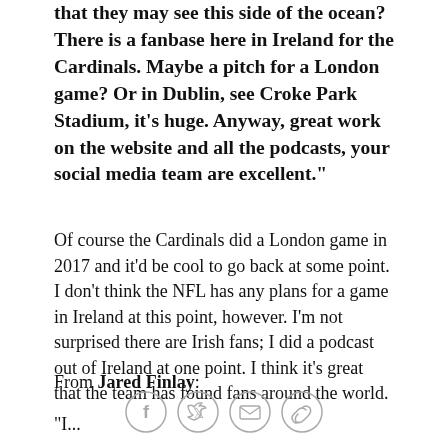that they may see this side of the ocean? There is a fanbase here in Ireland for the Cardinals. Maybe a pitch for a London game? Or in Dublin, see Croke Park Stadium, it's huge. Anyway, great work on the website and all the podcasts, your social media team are excellent."
Of course the Cardinals did a London game in 2017 and it'd be cool to go back at some point. I don't think the NFL has any plans for a game in Ireland at this point, however. I'm not surprised there are Irish fans; I did a podcast out of Ireland at one point. I think it's great that the team has found fans around the world.
From Jared Finlay:
"I...
[Figure (infographic): Social media sharing icons: Facebook, Twitter, email, and link/chain icon, displayed as circular outlined buttons in a horizontal row at the bottom of the page.]